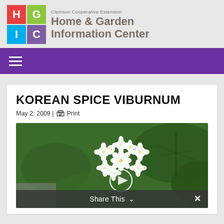Clemson Cooperative Extension Home & Garden Information Center
KOREAN SPICE VIBURNUM
May 2, 2009 | Print
[Figure (photo): Close-up photo of Korean Spice Viburnum white flower cluster against green leaves background]
Share This